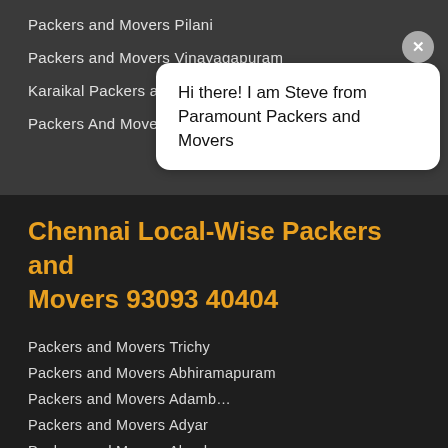Packers and Movers Pilani
Packers and Movers Vinayagapuram
Karaikal Packers and Movers Karaikal
Packers And Movers T Nagar
Chennai Local-Wise Packers and Movers 93093 40404
Packers and Movers Trichy
Packers and Movers Abhiramapuram
Packers and Movers Adamb…
Packers and Movers Adyar
Packers and Movers Alandu…
Packers and Movers Ambat…
Packers and Movers Aminjikara
and Movers Anakaputhur
and Movers Angappa Naicken Street
rs and Movers Anna Nagar
Packers and Movers Anna Nagar East
[Figure (other): Chat bubble overlay: Hi there! I am Steve from Paramount Packers and Movers]
[Figure (other): WhatsApp green chat button icon]
[Figure (other): Customer service avatar with green online dot]